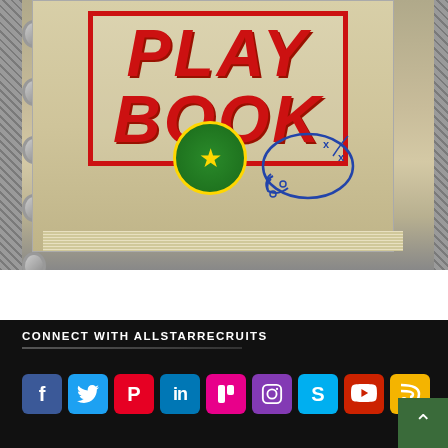[Figure (photo): A binder-style playbook with red stamp text reading 'PLAY BOOK' on a worn paper cover, showing an AllStarRecruits logo and football play diagram, resting on a diamond-plate metal surface.]
CONNECT WITH ALLSTARRECRUITS
[Figure (infographic): Row of social media icon buttons: Facebook (blue), Twitter (light blue), Pinterest (red), LinkedIn (dark blue), Flickr (pink), Instagram (purple), Skype (cyan), YouTube (red), RSS (yellow/gold)]